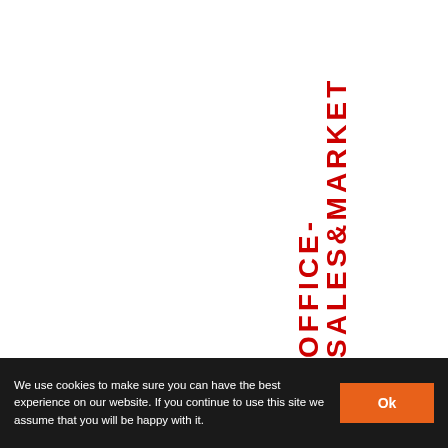OFFICE-SALES&MARKET
We use cookies to make sure you can have the best experience on our website. If you continue to use this site we assume that you will be happy with it. Ok